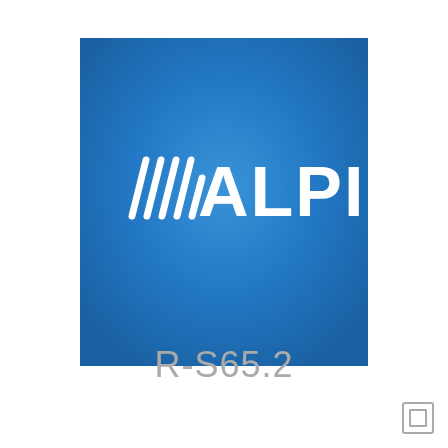[Figure (logo): Alpine Electronics logo on blue gradient background. White text reading ////ALPINE with diagonal slash marks before the word ALPINE.]
R-S65.2